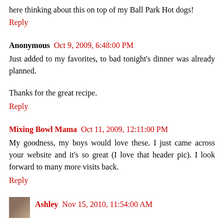here thinking about this on top of my Ball Park Hot dogs!
Reply
Anonymous  Oct 9, 2009, 6:48:00 PM
Just added to my favorites, to bad tonight's dinner was already planned.
Thanks for the great recipe.
Reply
Mixing Bowl Mama  Oct 11, 2009, 12:11:00 PM
My goodness, my boys would love these. I just came across your website and it's so great (I love that header pic). I look forward to many more visits back.
Reply
Ashley  Nov 15, 2010, 11:54:00 AM